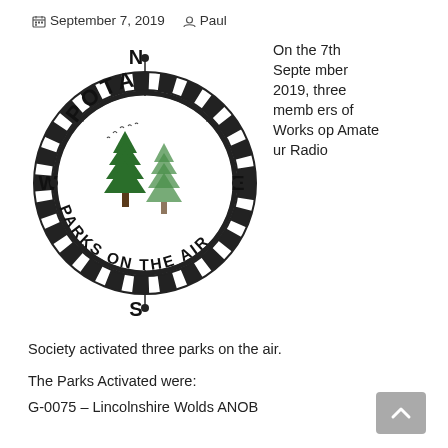September 7, 2019   Paul
[Figure (logo): POTA Parks on the Air circular compass logo with two green pine trees in the center, compass directions N, E, S, W around the outside, and a dashed black and white border ring.]
On the 7th September 2019, three members of Worksop Amateur Radio
Society activated three parks on the air.
The Parks Activated were:
G-0075 – Lincolnshire Wolds ANOB